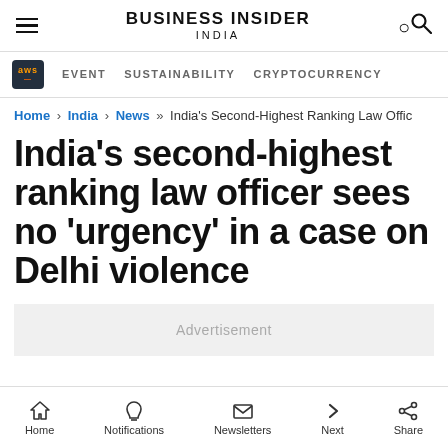BUSINESS INSIDER INDIA
EVENT   SUSTAINABILITY   CRYPTOCURRENCY
Home > India > News >> India's Second-Highest Ranking Law Offic
India's second-highest ranking law officer sees no 'urgency' in a case on Delhi violence
Advertisement
Home  Notifications  Newsletters  Next  Share